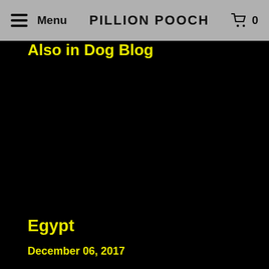Menu | PILLION POOCH | 0
Also in Dog Blog
Egypt
December 06, 2017